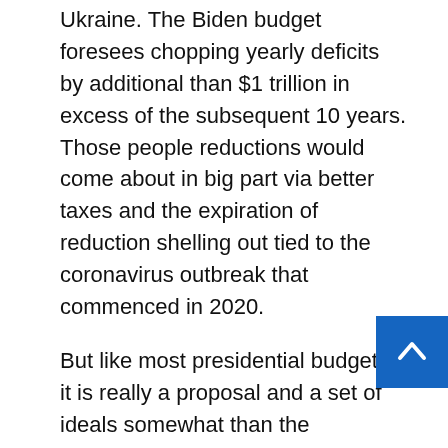Ukraine. The Biden budget foresees chopping yearly deficits by additional than $1 trillion in excess of the subsequent 10 years. Those people reductions would come about in big part via better taxes and the expiration of reduction shelling out tied to the coronavirus outbreak that commenced in 2020.
But like most presidential budgets, it is really a proposal and a set of ideals somewhat than the regulation of the land. Congress is responsible for applying the finances through tax and paying laws and yearly agency funding.
The proposal confronted instant criticism from Republican lawmakers. They famous that deficits perfectly in surplus of $1 trillion on a yearly basis would persist, explained better taxes could harm growth and objected that more authorities spending would feed into inflation.